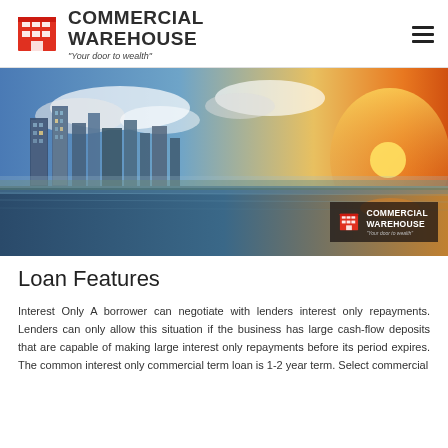COMMERCIAL WAREHOUSE "Your door to wealth"
[Figure (photo): Aerial panoramic photo of a waterfront skyline with tall skyscrapers under a dramatic sunset sky with clouds. A Commercial Warehouse logo overlay appears in the lower right corner of the image with the text 'COMMERCIAL WAREHOUSE' and '"Your door to wealth"'.]
Loan Features
Interest Only A borrower can negotiate with lenders interest only repayments. Lenders can only allow this situation if the business has large cash-flow deposits that are capable of making large interest only repayments before its period expires. The common interest only commercial term loan is 1-2 year term. Select commercial